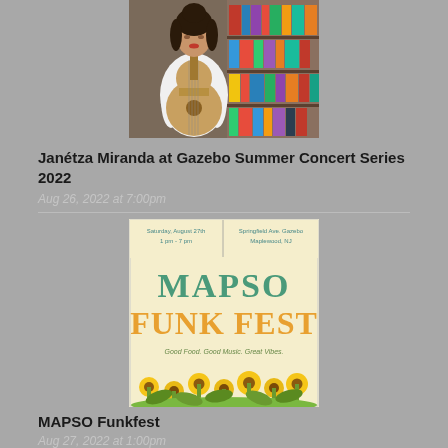[Figure (photo): Woman holding a guitar in front of bookshelves, wearing a white top]
Janétza Miranda at Gazebo Summer Concert Series 2022
Aug 26, 2022 at 7:00pm
[Figure (poster): MAPSO Funk Fest poster: Saturday, August 27th | Springfield Ave. Gazebo, 1pm - 7pm | Maplewood, NJ. Good Food. Good Music. Great Vibes. Features sunflower decorations and retro typography in green, teal, and orange.]
MAPSO Funkfest
Aug 27, 2022 at 1:00pm